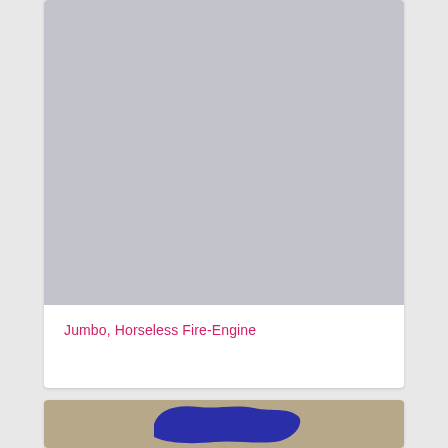[Figure (photo): Gray placeholder image representing a photo, top portion of a card]
Jumbo, Horseless Fire-Engine
[Figure (photo): Partial photo showing a blue water body (lake or sea) surrounded by beige/tan land with dark rocky edges, bottom card]